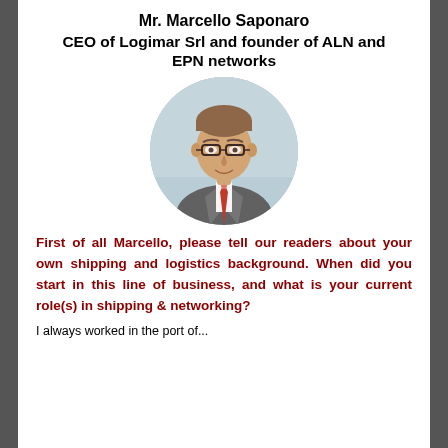Mr. Marcello Saponaro
CEO of Logimar Srl and founder of ALN and EPN networks
[Figure (photo): Circular portrait photo of Mr. Marcello Saponaro, a man in a grey suit with an orange/red tie, wearing glasses, smiling slightly.]
First of all Marcello, please tell our readers about your own shipping and logistics background. When did you start in this line of business, and what is your current role(s) in shipping & networking?
I always worked in the port of...